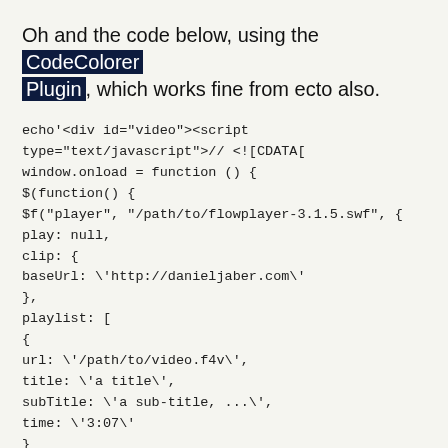Oh and the code below, using the CodeColorer Plugin, which works fine from ecto also.
echo'<div id="video"><script type="text/javascript">// <![CDATA[
window.onload = function () {
$(function() {
$f("player", "/path/to/flowplayer-3.1.5.swf", {
play: null,
clip: {
baseUrl: \'http://danieljaber.com\'
},
playlist: [
{
url: \'/path/to/video.f4v\',
title: \'a title\',
subTitle: \'a sub-title, ...\',
time: \'3:07\'
}
],